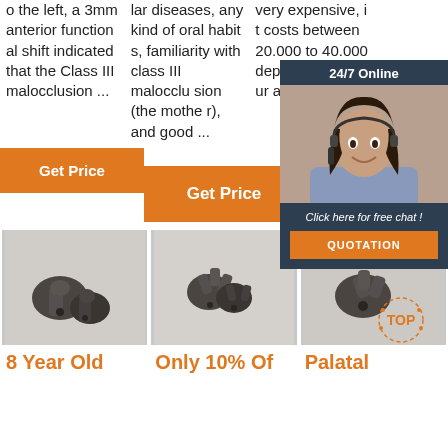o the left, a 3mm anterior functional shift indicated that the Class III malocclusion ...
lar diseases, any kind of oral habits, familiarity with class III malocclusion (the mother), and good ...
very expensive, it costs between 20.000 to 40.000 depending on your a...
Get Price
Get Price
Get Price
[Figure (photo): Metal dental orthodontic appliance part - two pieces on white background]
[Figure (photo): Metal dental orthodontic appliance part - multiple pieces on white background]
[Figure (photo): Metal dental orthodontic appliance part - single piece on white background]
8 Year Old
Only 10% Of
Palatal
[Figure (photo): 24/7 Online chat widget with woman wearing headset, button: Click here for free chat! QUOTATION]